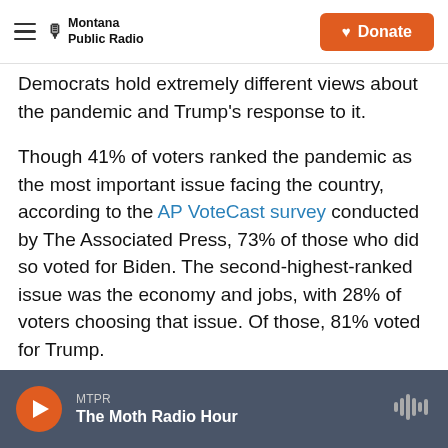Montana Public Radio | Donate
Democrats hold extremely different views about the pandemic and Trump's response to it.
Though 41% of voters ranked the pandemic as the most important issue facing the country, according to the AP VoteCast survey conducted by The Associated Press, 73% of those who did so voted for Biden. The second-highest-ranked issue was the economy and jobs, with 28% of voters choosing that issue. Of those, 81% voted for Trump.
Some political scientists say this partisan divide is not surprising.
MTPR | The Moth Radio Hour